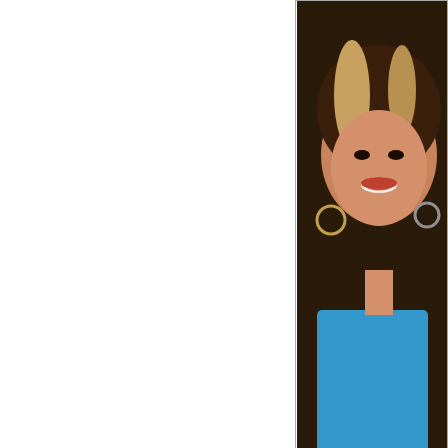[Figure (photo): Portrait photo of a smiling woman with highlighted hair, wearing a blue top, large hoop earrings. Watermark: 'Images for illustrative purposes only.']
HOOK UP T
| Field | Value |
| --- | --- |
| Ad günü | 28.04.1... |
| Bürc | Buğa |
| Cins | Kişi |
| Tanişlığın məqsədi | Roman... |
| Ölkə(şəhər) | Azerba... |
| Email | You sh... |
| Sizin axtarırsız | Qadın... |